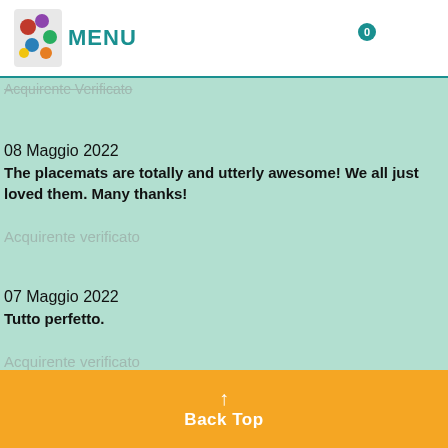MENU (navigation bar with cart, user, and settings icons)
Acquirente Verificato
08 Maggio 2022
The placemats are totally and utterly awesome! We all just loved them. Many thanks!
Acquirente verificato
07 Maggio 2022
Tutto perfetto.
Acquirente verificato
07 Maggio 2022
↑ Back Top